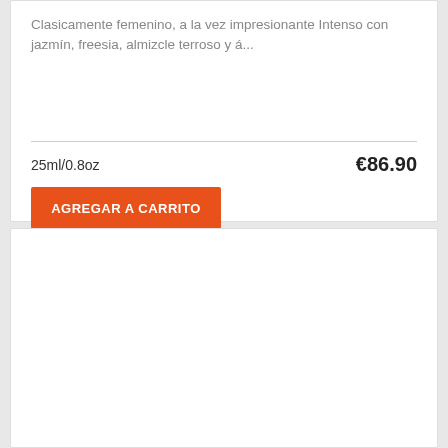Clasicamente femenino, a la vez impresionante Intenso con jazmín, freesia, almizcle terroso y á...
25ml/0.8oz
€86.90
AGREGAR A CARRITO
[Figure (photo): Dolce & Gabbana Light Blue pour homme cologne box and bottle. Blue/white box and white bottle with blue cap.]